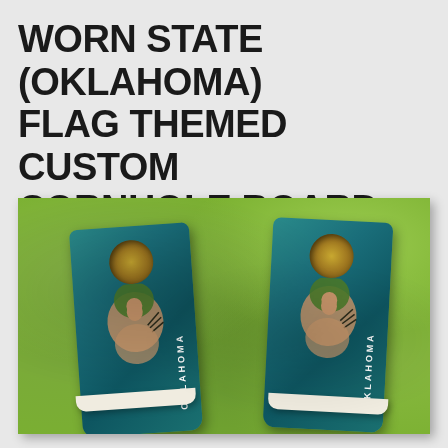WORN STATE (OKLAHOMA) FLAG THEMED CUSTOM CORNHOLE BOARD DESIGN
[Figure (photo): Photo of two teal/turquoise worn-look cornhole boards with Oklahoma state flag design (Native American figure with headdress and arrows, with 'OKLAHOMA' text), placed on green grass]